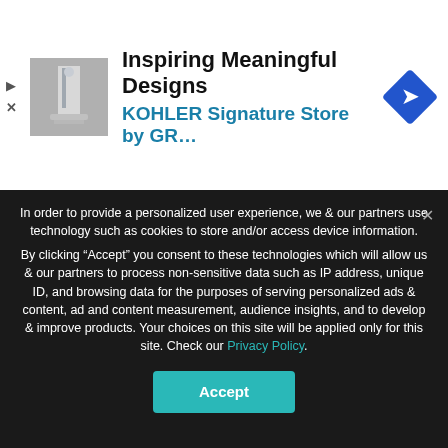[Figure (screenshot): Advertisement banner: photo of bathroom fixture on left, 'Inspiring Meaningful Designs' headline, 'KOHLER Signature Store by GR...' subtitle in teal, blue diamond navigation icon on right]
for travellers, right? Their Christmas collection is lovely, and you can see it on their website. They've recently introduced male watches too, so it could be a perfect present for men, as well.
In order to provide a personalized user experience, we & our partners use technology such as cookies to store and/or access device information. By clicking “Accept” you consent to these technologies which will allow us & our partners to process non-sensitive data such as IP address, unique ID, and browsing data for the purposes of serving personalized ads & content, ad and content measurement, audience insights, and to develop & improve products. Your choices on this site will be applied only for this site. Check our Privacy Policy.